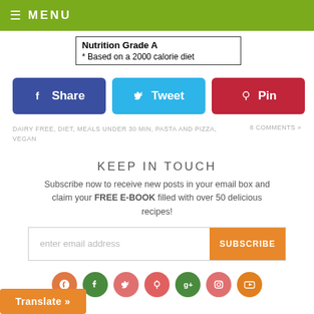MENU
| Nutrition Grade A |
| --- |
| * Based on a 2000 calorie diet |
[Figure (infographic): Social share buttons: Share (Facebook, blue), Tweet (Twitter, cyan), Pin (Pinterest, red)]
DAIRY FREE, DIET, MEALS UNDER 30 MIN, PASTA AND PIZZA, VEGAN
8 COMMENTS »
KEEP IN TOUCH
Subscribe now to receive new posts in your email box and claim your FREE E-BOOK filled with over 50 delicious recipes!
[Figure (infographic): Email subscription input with enter email address placeholder and SUBSCRIBE button]
[Figure (infographic): Social media icon circles: RSS (orange), Facebook (green), Twitter (salmon), Pinterest (red), Google+ (green), Instagram (pink), YouTube (orange)]
Translate »